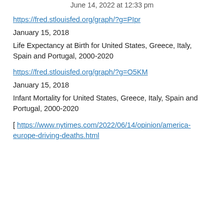June 14, 2022 at 12:33 pm
https://fred.stlouisfed.org/graph/?g=PIpr
January 15, 2018
Life Expectancy at Birth for United States, Greece, Italy, Spain and Portugal, 2000-2020
https://fred.stlouisfed.org/graph/?g=O5KM
January 15, 2018
Infant Mortality for United States, Greece, Italy, Spain and Portugal, 2000-2020
[ https://www.nytimes.com/2022/06/14/opinion/america-europe-driving-deaths.html